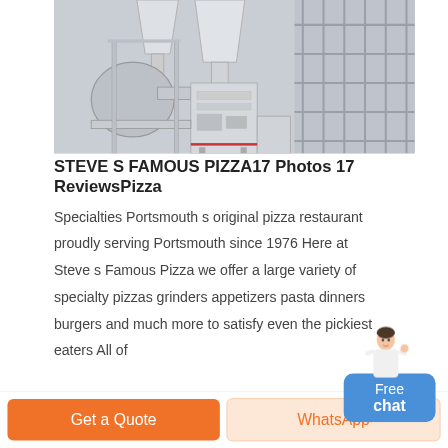[Figure (photo): Industrial milling or grinding machine with large conical hoppers, pipes, and metal scaffolding inside a factory or warehouse setting. Machinery is white/grey in color.]
STEVE S FAMOUS PIZZA17 Photos 17 ReviewsPizza
Specialties Portsmouth s original pizza restaurant proudly serving Portsmouth since 1976 Here at Steve s Famous Pizza we offer a large variety of specialty pizzas grinders appetizers pasta dinners burgers and much more to satisfy even the pickiest eaters All of
[Figure (illustration): Small avatar of a woman in white outfit with hand raised, next to a blue rounded rectangle button labeled 'Free chat']